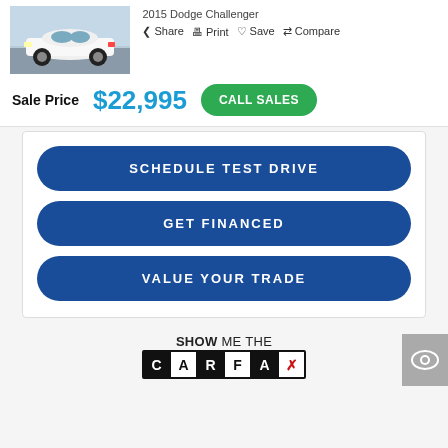[Figure (photo): White Dodge Challenger car in a dealership lot]
2015 Dodge Challenger
Share  Print  Save  Compare
Sale Price  $22,995
CALL SALES
SCHEDULE TEST DRIVE
GET FINANCED
VALUE YOUR TRADE
[Figure (logo): SHOW ME THE CARFAX logo]